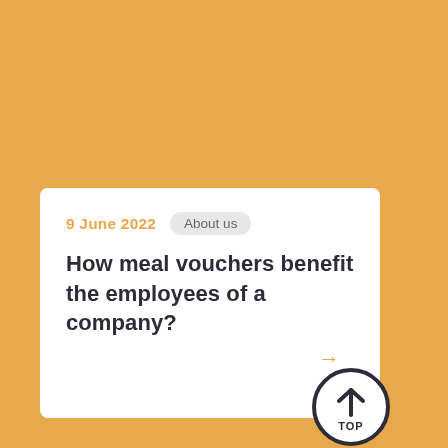9 June 2022
About us
How meal vouchers benefit the employees of a company?
[Figure (illustration): Orange arrow pointing right, and a circular 'TOP' button with upward arrow in dark navy circle, positioned at bottom right of card]